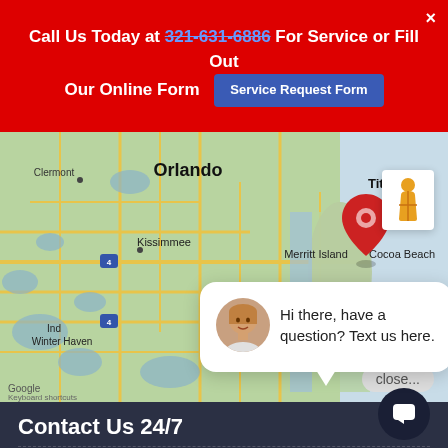Call Us Today at 321-631-6886 For Service or Fill Out Our Online Form  [Service Request Form]  ×
[Figure (map): Google Map showing Central Florida area including Orlando, Titusville, Kissimmee, Merritt Island, Cocoa Beach, Melbourne, Palm Bay, Winter Haven, Clermont. A red map pin marker is placed near Titusville/Cocoa area. Map includes road network and body of water (Atlantic coast). Keyboard shortcuts label visible at bottom left.]
Hi there, have a question? Text us here.
close...
Contact Us 24/7
Freedom Air and Heat, Inc.
1401 Clearlake Rd.